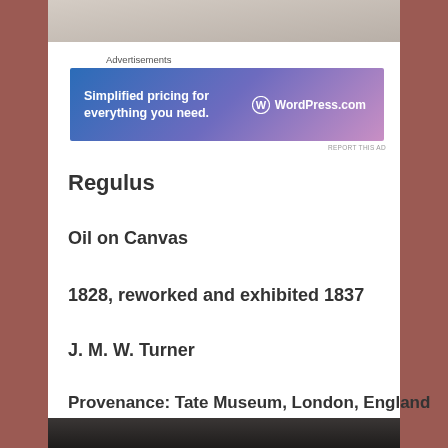[Figure (photo): Top partial image strip, gray-beige gradient, appears to be top of an artwork or surface]
Advertisements
[Figure (other): WordPress.com advertisement banner with blue-to-pink gradient. Text: 'Simplified pricing for everything you need. WordPress.com']
REPORT THIS AD
Regulus
Oil on Canvas
1828, reworked and exhibited 1837
J. M. W. Turner
Provenance: Tate Museum, London, England
[Figure (photo): Bottom partial image strip, dark brown/black gradient, bottom of a painting or image]